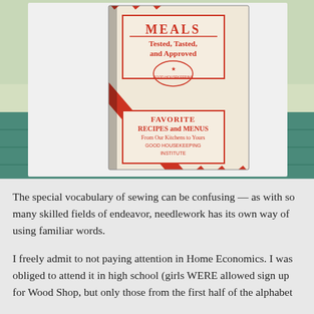[Figure (photo): A photograph of a vintage cookbook titled 'Meals Tested, Tasted, and Approved' with a red and white diagonal stripe pattern on the cover, sitting on what appears to be a teal/green painted wooden surface. The cover also reads 'Favorite Recipes and Menus From Our Kitchens to Yours - Good Housekeeping Institute'.]
The special vocabulary of sewing can be confusing — as with so many skilled fields of endeavor, needlework has its own way of using familiar words.
I freely admit to not paying attention in Home Economics. I was obliged to attend it in high school (girls WERE allowed sign up for Wood Shop, but only those from the first half of the alphabet